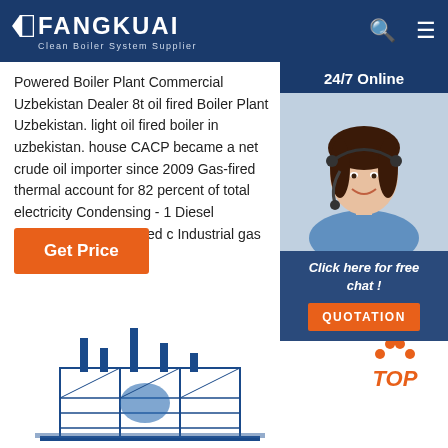FANGKUAI - Clean Boiler System Supplier
Powered Boiler Plant Commercial Uzbekistan Dealer 8t oil fired Boiler Plant Uzbekistan. light oil fired boiler in uzbekistan. house CACP became a net crude oil importer since 2000 Gas-fired thermal account for 82 percent of total electricity Condensing - 1 Diesel Industrial 100kw Posted c Industrial gas ...
[Figure (photo): Customer service representative woman with headset smiling, with 24/7 Online chat widget overlay]
Get Price
Click here for free chat !
QUOTATION
[Figure (illustration): Industrial boiler plant building illustration in blue]
[Figure (logo): TOP button with orange dots above and orange italic TOP text]